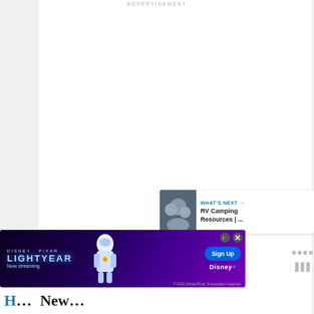ADVERTISEMENT
[Figure (other): Heart/like button with count 2.2K and share button on right sidebar]
[Figure (other): What's Next promo card: RV Camping Resources | ...]
[Figure (other): Disney Pixar Lightyear advertisement banner - Now streaming, Sign Up, Disney+]
[Figure (other): Bottom navigation dots / menu icons on far right]
RV Camping Resources | ...
H... New...